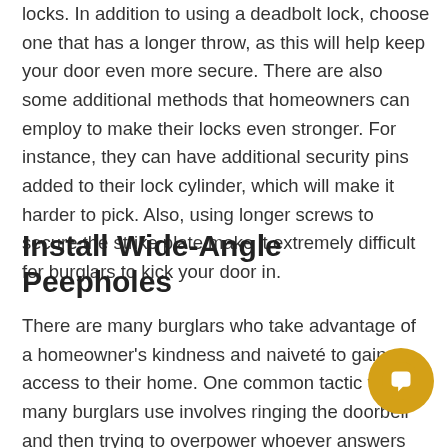locks. In addition to using a deadbolt lock, choose one that has a longer throw, as this will help keep your door even more secure. There are also some additional methods that homeowners can employ to make their locks even stronger. For instance, they can have additional security pins added to their lock cylinder, which will make it harder to pick. Also, using longer screws to secure the strike plate make it extremely difficult for burglars to kick your door in.
Install Wide-Angle Peepholes
There are many burglars who take advantage of a homeowner's kindness and naiveté to gain access to their home. One common tactic that many burglars use involves ringing the doorbell and then trying to overpower whoever answers the door. This can be avoided if homeowners install wide angle peepholes. These peepholes allow them to see whoever is at the door. Think of this as a screening process for allowing people into your home. This